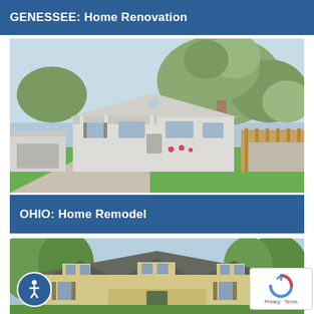GENESSEE: Home Renovation
[Figure (photo): Exterior photo of a renovated single-story white/gray house with a covered porch, detached garage, green lawn, large tree, and wooden fence in background - Ohio home remodel listing]
OHIO: Home Remodel
[Figure (photo): Exterior photo of a craftsman-style home with yellow/tan siding, multiple dormers, large trees, and a covered entry - bottom listing photo]